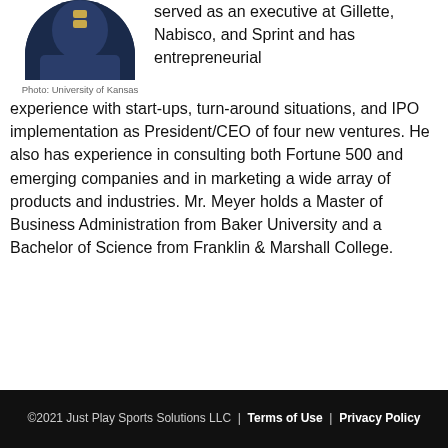[Figure (photo): Portrait photo of a person in dark clothing, circular/oval crop, top of head visible]
Photo: University of Kansas
served as an executive at Gillette, Nabisco, and Sprint and has entrepreneurial experience with start-ups, turn-around situations, and IPO implementation as President/CEO of four new ventures. He also has experience in consulting both Fortune 500 and emerging companies and in marketing a wide array of products and industries. Mr. Meyer holds a Master of Business Administration from Baker University and a Bachelor of Science from Franklin & Marshall College.
©2021 Just Play Sports Solutions LLC  |  Terms of Use  |  Privacy Policy